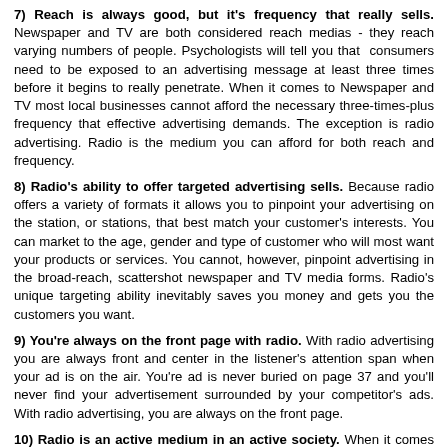7) Reach is always good, but it's frequency that really sells. Newspaper and TV are both considered reach medias - they reach varying numbers of people. Psychologists will tell you that consumers need to be exposed to an advertising message at least three times before it begins to really penetrate. When it comes to Newspaper and TV most local businesses cannot afford the necessary three-times-plus frequency that effective advertising demands. The exception is radio advertising. Radio is the medium you can afford for both reach and frequency.
8) Radio's ability to offer targeted advertising sells. Because radio offers a variety of formats it allows you to pinpoint your advertising on the station, or stations, that best match your customer's interests. You can market to the age, gender and type of customer who will most want your products or services. You cannot, however, pinpoint advertising in the broad-reach, scattershot newspaper and TV media forms. Radio's unique targeting ability inevitably saves you money and gets you the customers you want.
9) You're always on the front page with radio. With radio advertising you are always front and center in the listener's attention span when your ad is on the air. You're ad is never buried on page 37 and you'll never find your advertisement surrounded by your competitor's ads. With radio advertising, you are always on the front page.
10) Radio is an active medium in an active society. When it comes to passive forms of advertising you find they simply list merchandise or tell you where a product is available